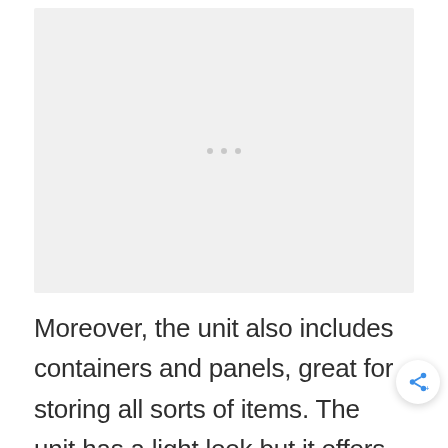[Figure (photo): Light gray image placeholder with three small dots in the center, indicating an image that did not load]
Moreover, the unit also includes containers and panels, great for storing all sorts of items. The unit has a light look but it offers great resistance and durability.The String